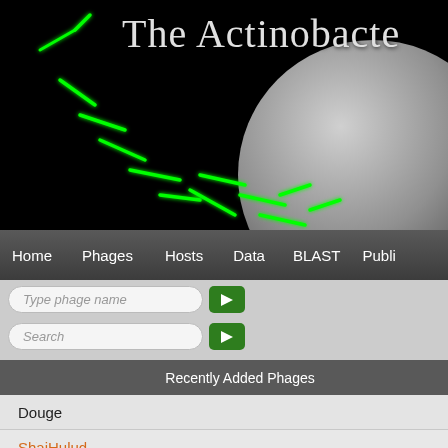[Figure (screenshot): Website header banner with black background showing green fluorescent bacteria and partial petri dish, with text 'The Actinobacte' (truncated)]
The Actinobacte
[Figure (screenshot): Navigation bar with items: Home, Phages, Hosts, Data, BLAST, Publi (truncated)]
Type phage name
Search
Recently Added Phages
Douge
ShaiHulud
Endor2
Endor1
DibeLizhin
Mycobacterium phage La
[Figure (photo): Grayscale microscopy image of a petri dish showing bacterial plaques — dense small white spots on a gray background]